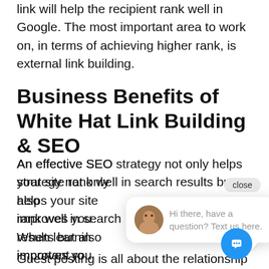link will help the recipient rank well in Google. The most important area to work on, in terms of achieving higher rank, is external link building.
Business Benefits of White Hat Link Building & SEO
An effective SEO strategy not only helps your site rank well in search results but also improves you When learnin important ro site. For busin aspect plays an important role, local SEO can help bring more foot traffic.
Guest posting is all about the relationship